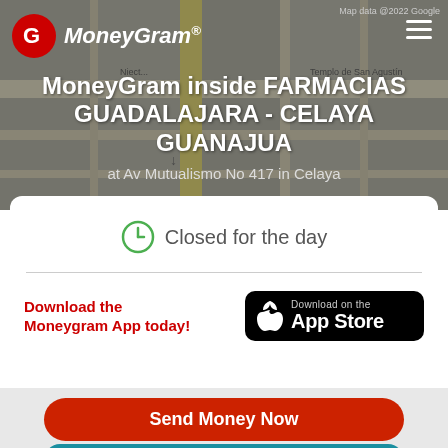[Figure (screenshot): Google Maps street map background showing Celaya area with gray overlay]
[Figure (logo): MoneyGram logo with red circle G icon and white italic MoneyGram text]
MoneyGram inside FARMACIAS GUADALAJARA - CELAYA GUANAJUA
at Av Mutualismo No 417 in Celaya
Closed for the day
Download the Moneygram App today!
[Figure (screenshot): Download on the App Store button with Apple logo]
Send Money Now